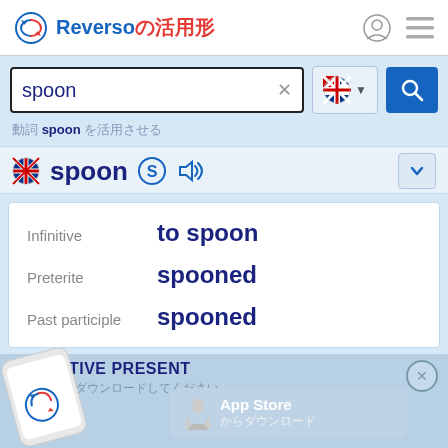Reverso の活用形
spoon
動詞 spoon を活用させる
spoon
| Infinitive | to spoon |
| Preterite | spooned |
| Past participle | spooned |
INDICATIVE PRESENT
I spoon
you spoon
he/she/it spoons